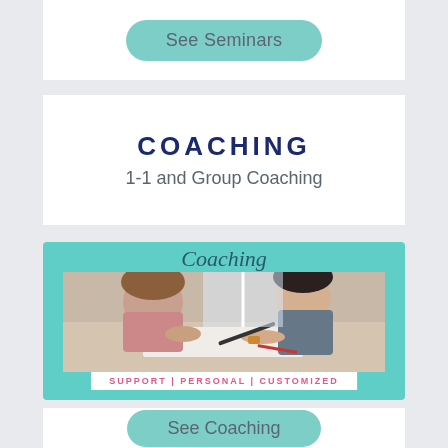See Seminars
COACHING
1-1 and Group Coaching
[Figure (infographic): Coaching promotional card with teal/turquoise background. Cursive 'Coaching' heading at top. Photo of two people (adult and child) working together at a table with papers and pens. White banner at bottom reads 'SUPPORT | PERSONAL | CUSTOMIZED' in pink uppercase letters.]
See Coaching